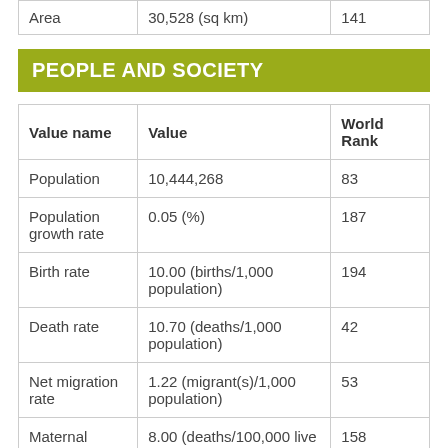|  |  |  |
| --- | --- | --- |
| Area | 30,528 (sq km) | 141 |
PEOPLE AND SOCIETY
| Value name | Value | World Rank |
| --- | --- | --- |
| Population | 10,444,268 | 83 |
| Population growth rate | 0.05 (%) | 187 |
| Birth rate | 10.00 (births/1,000 population) | 194 |
| Death rate | 10.70 (deaths/1,000 population) | 42 |
| Net migration rate | 1.22 (migrant(s)/1,000 population) | 53 |
| Maternal mortality rate | 8.00 (deaths/100,000 live births) | 158 |